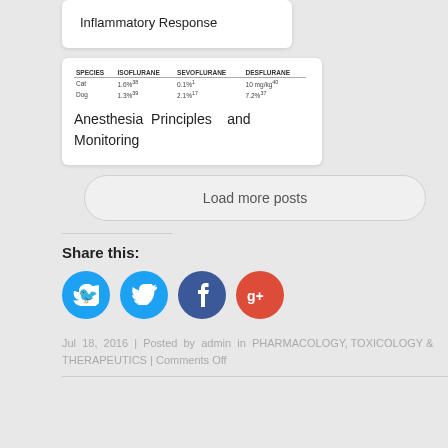Inflammatory Response
| SPECIES | ISOFLURANE | SEVOFLURANE | DESFLURANE |
| --- | --- | --- | --- |
| Cat | 1.6% | 0.1% | 10 mg/kg |
| Dog | 1.3% | 2.1% | 7.2% |
Anesthesia Principles and Monitoring
Load more posts
Share this:
[Figure (infographic): Social share icons: Twitter (blue circle), Facebook (dark blue circle), Google+ (red circle)]
Jul 18, 2016 | Posted by admin in PHARMACOLOGY, TOXICOLOGY & THERAPEUTICS | Comments Off